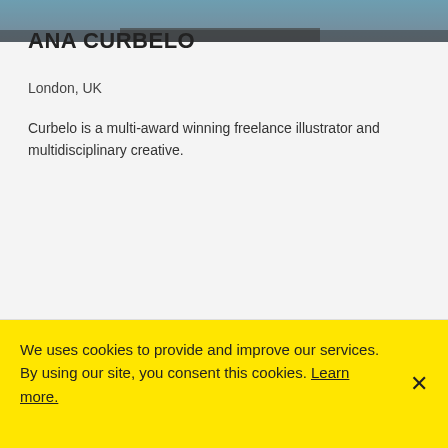[Figure (photo): Cropped top portion of a portrait photo, showing colorful blurred background with blue/teal tones and a dark belt/waist area]
ANA CURBELO
London,  UK
Curbelo is a multi-award winning freelance illustrator and multidisciplinary creative.
IG
[Figure (photo): Top portion of a portrait photo of a person with dark hair against a light gray background]
We uses cookies to provide and improve our services. By using our site, you consent this cookies. Learn more.